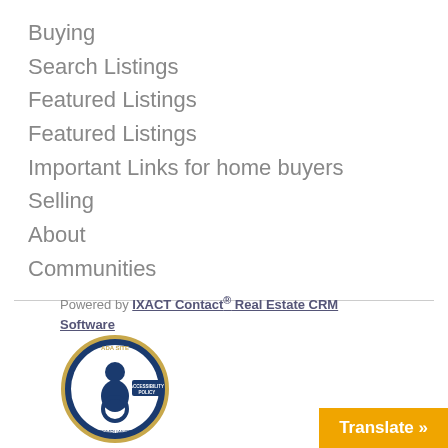Buying
Search Listings
Featured Listings
Featured Listings
Important Links for home buyers
Selling
About
Communities
Powered by IXACT Contact® Real Estate CRM Software
[Figure (logo): ADA Site Compliance accessibility policy badge]
Translate »